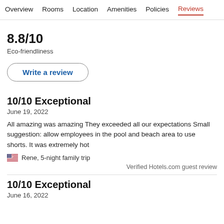Overview  Rooms  Location  Amenities  Policies  Reviews
8.8/10
Eco-friendliness
Write a review
10/10 Exceptional
June 19, 2022
All amazing was amazing They exceeded all our expectations Small suggestion: allow employees in the pool and beach area to use shorts. It was extremely hot
Rene, 5-night family trip
Verified Hotels.com guest review
10/10 Exceptional
June 16, 2022